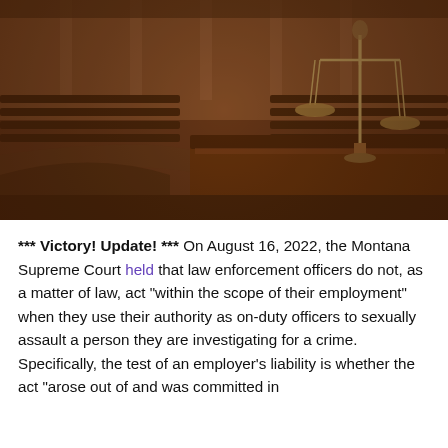[Figure (photo): Interior of a courtroom with wooden benches, a judge's bench, and scales of justice in sepia/brown tones]
*** Victory! Update! *** On August 16, 2022, the Montana Supreme Court held that law enforcement officers do not, as a matter of law, act "within the scope of their employment" when they use their authority as on-duty officers to sexually assault a person they are investigating for a crime. Specifically, the test of an employer's liability is whether the act "arose out of and was committed in